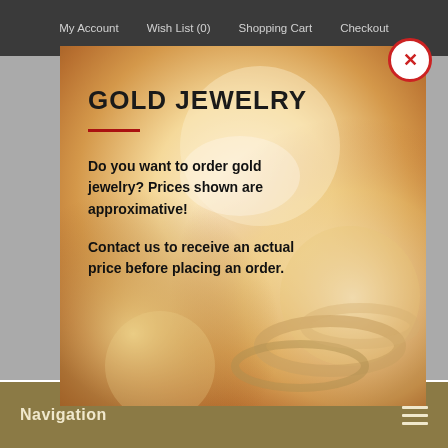My Account   Wish List (0)   Shopping Cart   Checkout
[Figure (photo): Gold jewelry photo showing rings with warm golden bokeh background, used as modal dialog background]
GOLD JEWELRY
Do you want to order gold jewelry? Prices shown are approximative!
Contact us to receive an actual price before placing an order.
Navigation